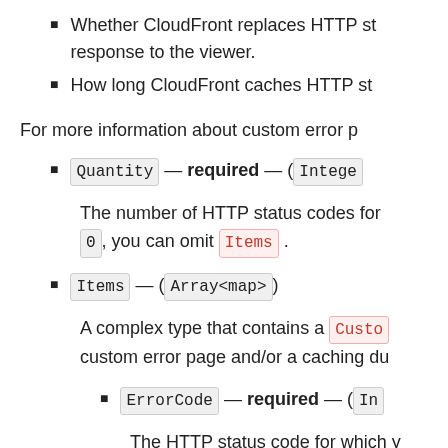Whether CloudFront replaces HTTP status codes in the response to the viewer.
How long CloudFront caches HTTP status codes.
For more information about custom error p...
Quantity — required — (Integer)
The number of HTTP status codes for... 0 , you can omit Items .
Items — (Array<map>)
A complex type that contains a Custo... custom error page and/or a caching du...
ErrorCode — required — (In...
The HTTP status code for which y...
ResponsePagePath — (Stri...